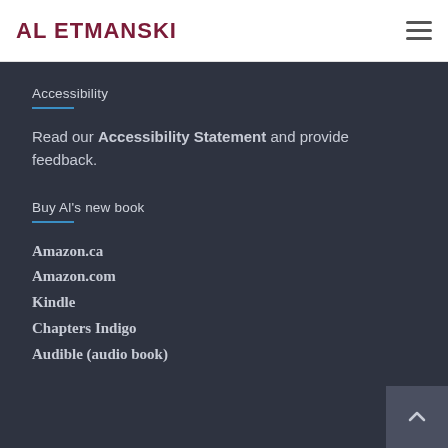AL ETMANSKI
Accessibility
Read our Accessibility Statement and provide feedback.
Buy Al's new book
Amazon.ca
Amazon.com
Kindle
Chapters Indigo
Audible (audio book)